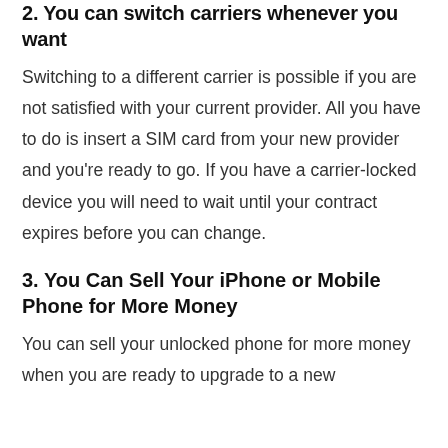2. You can switch carriers whenever you want
Switching to a different carrier is possible if you are not satisfied with your current provider. All you have to do is insert a SIM card from your new provider and you're ready to go. If you have a carrier-locked device you will need to wait until your contract expires before you can change.
3. You Can Sell Your iPhone or Mobile Phone for More Money
You can sell your unlocked phone for more money when you are ready to upgrade to a new